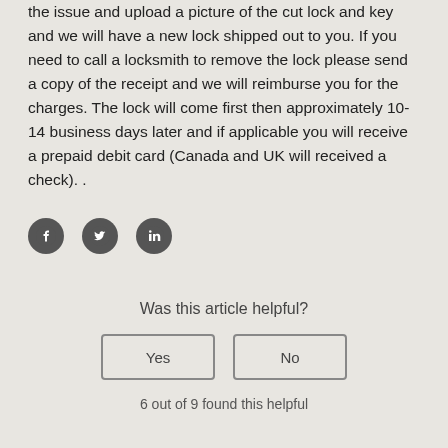the issue and upload a picture of the cut lock and key and we will have a new lock shipped out to you. If you need to call a locksmith to remove the lock please send a copy of the receipt and we will reimburse you for the charges. The lock will come first then approximately 10-14 business days later and if applicable you will receive a prepaid debit card (Canada and UK will received a check). .
[Figure (other): Three social media icons: Facebook, Twitter, LinkedIn]
Was this article helpful?
Yes
No
6 out of 9 found this helpful